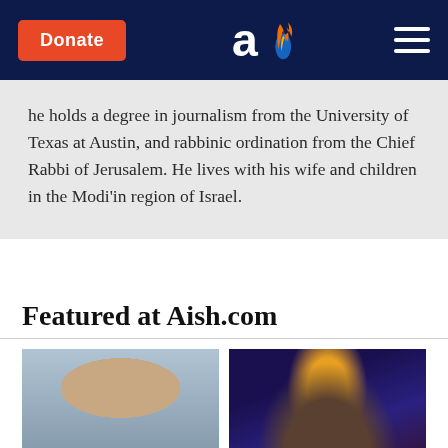Donate | Aish.com logo | Navigation menu
he holds a degree in journalism from the University of Texas at Austin, and rabbinic ordination from the Chief Rabbi of Jerusalem. He lives with his wife and children in the Modi'in region of Israel.
Featured at Aish.com
[Figure (photo): Close-up portrait of a young boy with blue eyes and brown hair]
[Figure (illustration): Colorful artistic illustration of rabbinical/mystical figures with fire and flames]